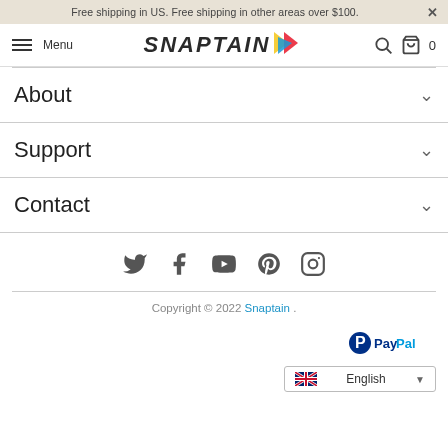Free shipping in US. Free shipping in other areas over $100.
[Figure (logo): Snaptain logo with colorful arrow mark, navigation menu icon and search/cart icons]
About
Support
Contact
[Figure (infographic): Social media icons: Twitter, Facebook, YouTube, Pinterest, Instagram]
Copyright © 2022 Snaptain .
[Figure (logo): PayPal payment logo]
English language selector dropdown